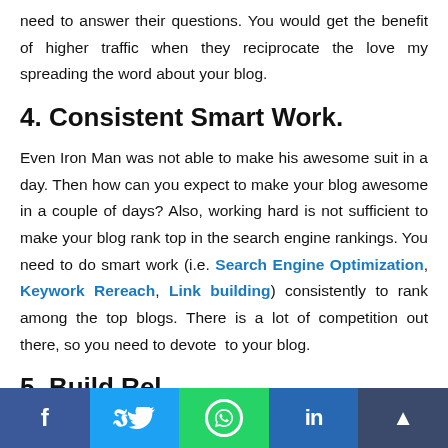need to answer their questions. You would get the benefit of higher traffic when they reciprocate the love my spreading the word about your blog.
4. Consistent Smart Work.
Even Iron Man was not able to make his awesome suit in a day. Then how can you expect to make your blog awesome in a couple of days? Also, working hard is not sufficient to make your blog rank top in the search engine rankings. You need to do smart work (i.e. Search Engine Optimization, Keywork Rereach, Link building) consistently to rank among the top blogs. There is a lot of competition out there, so you need to devote to your blog.
5. Build Rel...